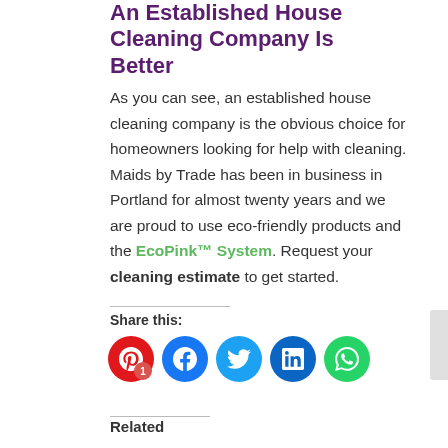An Established House Cleaning Company Is Better
As you can see, an established house cleaning company is the obvious choice for homeowners looking for help with cleaning. Maids by Trade has been in business in Portland for almost twenty years and we are proud to use eco-friendly products and the EcoPink™ System. Request your cleaning estimate to get started.
Share this:
[Figure (other): Social share buttons: Pinterest (with badge 1), Facebook, Twitter, LinkedIn, WhatsApp]
Related